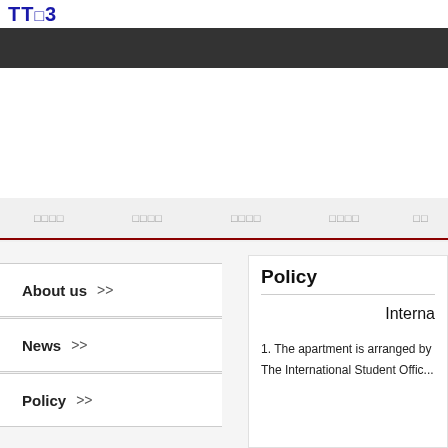TT□3
□□□□  □□□□  □□□□  □□□□  □□
Policy
Interna
About us >>
News >>
Policy >>
1. The apartment is arranged by
The International Student Offic...